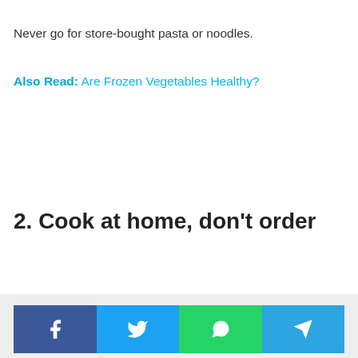Never go for store-bought pasta or noodles.
Also Read: Are Frozen Vegetables Healthy?
2. Cook at home, don't order
Share buttons: Facebook, Twitter, WhatsApp, Telegram